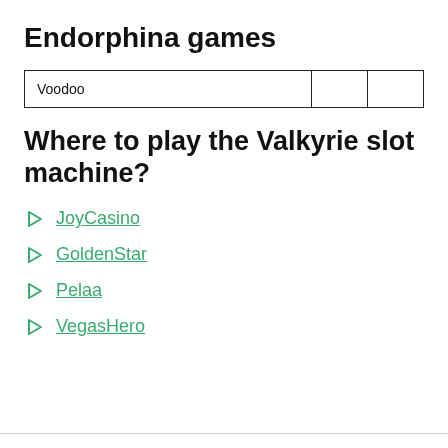Endorphina games
| Voodoo |  |  |
Where to play the Valkyrie slot machine?
JoyCasino
GoldenStar
Pelaa
VegasHero